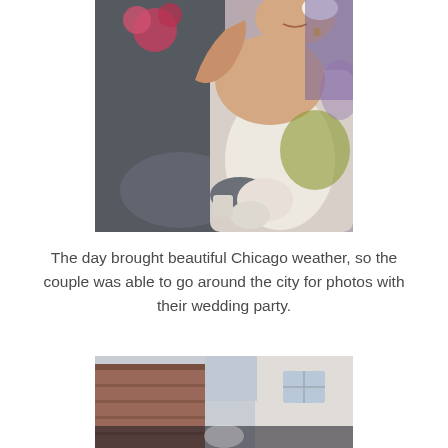[Figure (photo): Wedding couple embracing. Groom in dark suit, bride in white strapless gown with flower in hair, smiling. Blurred floral and colorful background.]
The day brought beautiful Chicago weather, so the couple was able to go around the city for photos with their wedding party.
[Figure (photo): Partial view of city buildings with blurred foreground, bottom of page cropped.]